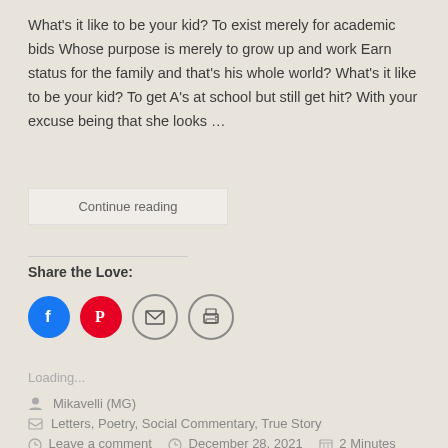What's it like to be your kid? To exist merely for academic bids Whose purpose is merely to grow up and work Earn status for the family and that's his whole world? What's it like to be your kid? To get A's at school but still get hit? With your excuse being that she looks …
Continue reading
Share the Love:
[Figure (infographic): Social share icons: Facebook (blue circle), Pinterest (red circle), Email (envelope icon, outlined circle), Print (printer icon, outlined circle)]
Loading...
Mikavelli (MG)
Letters, Poetry, Social Commentary, True Story
Leave a comment   December 28, 2021   2 Minutes